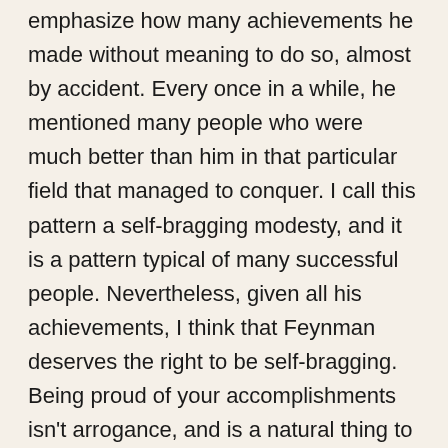emphasize how many achievements he made without meaning to do so, almost by accident. Every once in a while, he mentioned many people who were much better than him in that particular field that managed to conquer. I call this pattern a self-bragging modesty, and it is a pattern typical of many successful people. Nevertheless, given all his achievements, I think that Feynman deserves the right to be self-bragging. Being proud of your accomplishments isn't arrogance, and is a natural thing to do. “Surely You’re Joking, Mr. Feynman!” is fun to read, is very informative